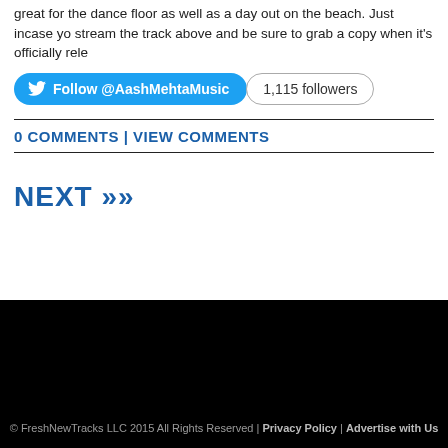great for the dance floor as well as a day out on the beach. Just incase yo stream the track above and be sure to grab a copy when it's officially rele
Follow @AashMehtaMusic | 1,115 followers
0 COMMENTS | VIEW COMMENTS
NEXT »»
© FreshNewTracks LLC 2015 All Rights Reserved | Privacy Policy | Advertise with Us